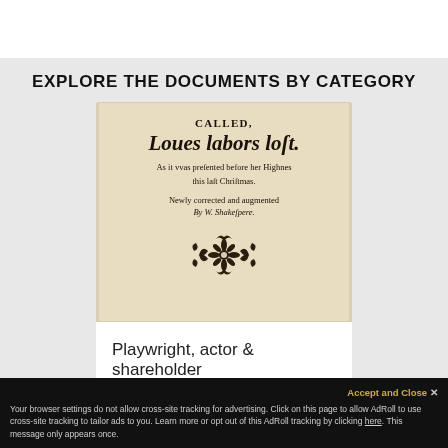EXPLORE THE DOCUMENTS BY CATEGORY
[Figure (photo): Scanned title page of an old book reading: CALLED, Loues labors lost. As it vvas presented before her Highnes this last Christmas. Newly corrected and augmented By W. Shakespere. With ornamental floral printer's device below.]
Playwright, actor & shareholder
[Figure (photo): Partial view of an old manuscript or printed text with decorative initial letter, reading: Moity. The warrant I haue of your Honourable disposition, not the worth of my vntored...]
Accept and Close ×
Your browser settings do not allow cross-site tracking for advertising. Click on this page to allow AdRoll to use cross-site tracking to tailor ads to you. Learn more or opt out of this AdRoll tracking by clicking here. This message only appears once.